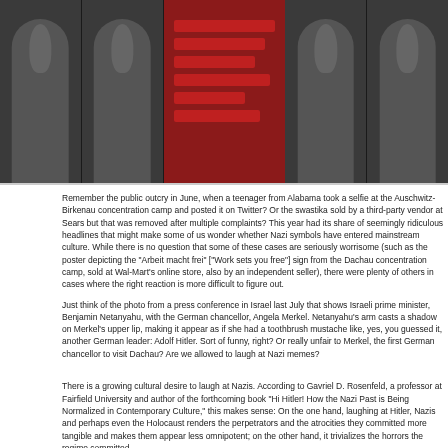[Figure (photo): Collage of soldiers in dark military gear on left and right panels, with a dark red center panel showing diagonal red stripes, resembling a Nazi rally aesthetic.]
Remember the public outcry in June, when a teenager from Alabama took a selfie at the Auschwitz-Birkenau concentration camp and posted it on Twitter? Or the swastika sold by a third-party vendor at Sears but that was removed after multiple complaints? This year had its share of seemingly ridiculous headlines that might make some of us wonder whether Nazi symbols have entered mainstream culture. While there is no question that some of these cases are seriously worrisome (such as the poster depicting the "Arbeit macht frei" ["Work sets you free"] sign from the Dachau concentration camp, sold at Wal-Mart's online store, also by an independent seller), there were plenty of others in cases where the right reaction is more difficult to figure out.
Just think of the photo from a press conference in Israel last July that shows Israeli prime minister, Benjamin Netanyahu, with the German chancellor, Angela Merkel. Netanyahu's arm casts a shadow on Merkel's upper lip, making it appear as if she had a toothbrush mustache like, yes, you guessed it, another German leader: Adolf Hitler. Sort of funny, right? Or really unfair to Merkel, the first German chancellor to visit Dachau? Are we allowed to laugh at Nazi memes?

There is a growing cultural desire to laugh at Nazis. According to Gavriel D. Rosenfeld, a professor at Fairfield University and author of the forthcoming book "Hi Hitler! How the Nazi Past is Being Normalized in Contemporary Culture," this makes sense: On the one hand, laughing at Hitler, Nazis and perhaps even the Holocaust renders the perpetrators and the atrocities they committed more tangible and makes them appear less omnipotent; on the other hand, it trivializes the horrors the regime committed.